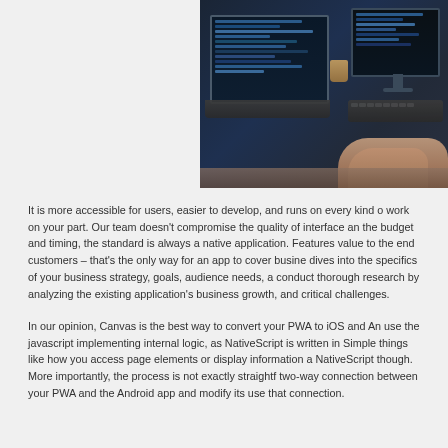[Figure (photo): Person typing on a laptop with a monitor in the background, showing code/programming interfaces on screens. Dark coding environment.]
It is more accessible for users, easier to develop, and runs on every kind of work on your part. Our team doesn't compromise the quality of interface an the budget and timing, the standard is always a native application. Features value to the end customers – that's the only way for an app to cover busine dives into the specifics of your business strategy, goals, audience needs, a conduct thorough research by analyzing the existing application's business growth, and critical challenges.
In our opinion, Canvas is the best way to convert your PWA to iOS and And use the javascript implementing internal logic, as NativeScript is written in b Simple things like how you access page elements or display information ar NativeScript though. More importantly, the process is not exactly straightfo two-way connection between your PWA and the Android app and modify its use that connection.